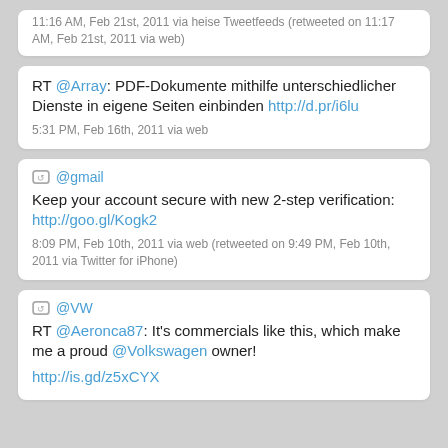11:16 AM, Feb 21st, 2011 via heise Tweetfeeds (retweeted on 11:17 AM, Feb 21st, 2011 via web)
RT @Array: PDF-Dokumente mithilfe unterschiedlicher Dienste in eigene Seiten einbinden http://d.pr/i6lu
5:31 PM, Feb 16th, 2011 via web
@gmail Keep your account secure with new 2-step verification: http://goo.gl/Kogk2
8:09 PM, Feb 10th, 2011 via web (retweeted on 9:49 PM, Feb 10th, 2011 via Twitter for iPhone)
@VW RT @Aeronca87: It's commercials like this, which make me a proud @Volkswagen owner! http://is.gd/z5xCYX